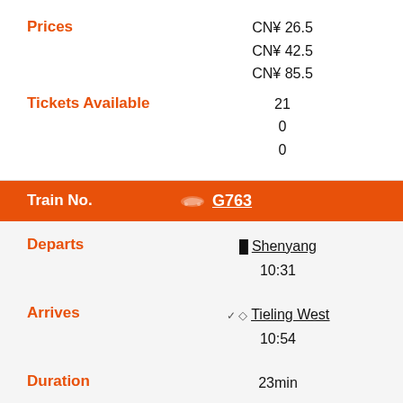Prices: CN¥26.5, CN¥42.5, CN¥85.5
Tickets Available: 21, 0, 0
| Field | Value |
| --- | --- |
| Train No. | G763 |
| Departs | Shenyang 10:31 |
| Arrives | Tieling West 10:54 |
| Duration | 23min |
| Ticket Category | 2nd Class Seat »
1st Class Seat» |